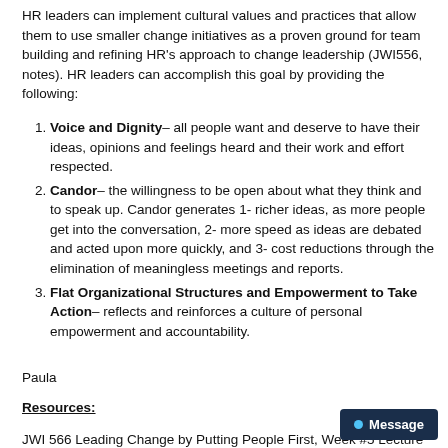HR leaders can implement cultural values and practices that allow them to use smaller change initiatives as a proven ground for team building and refining HR's approach to change leadership (JWI556, notes). HR leaders can accomplish this goal by providing the following:
Voice and Dignity – all people want and deserve to have their ideas, opinions and feelings heard and their work and effort respected.
Candor – the willingness to be open about what they think and to speak up. Candor generates 1- richer ideas, as more people get into the conversation, 2- more speed as ideas are debated and acted upon more quickly, and 3- cost reductions through the elimination of meaningless meetings and reports.
Flat Organizational Structures and Empowerment to Take Action – reflects and reinforces a culture of personal empowerment and accountability.
Paula
Resources:
JWI 566 Leading Change by Putting People First, Week #5 Lecture